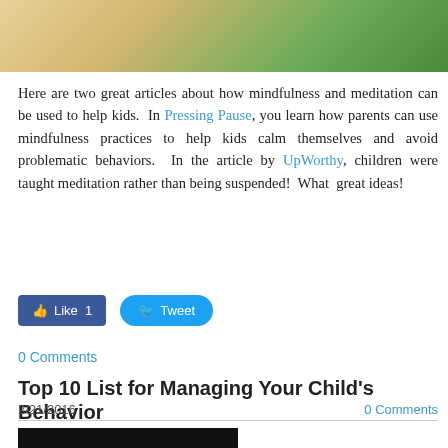[Figure (photo): Partial photo of a child outdoors on grass, wearing a yellow and blue outfit, cropped at the top of the page.]
Here are two great articles about how mindfulness and meditation can be used to help kids.  In Pressing Pause, you learn how parents can use mindfulness practices to help kids calm themselves and avoid problematic behaviors.  In the article by UpWorthy, children were taught meditation rather than being suspended!  What  great ideas!
[Figure (other): Facebook Like button showing count of 1 and Twitter Tweet button]
0 Comments
Top 10 List for Managing Your Child's Behavior
2/21/2016      0 Comments
[Figure (photo): Black chalkboard with 'TOP 10' written in white chalk letters]